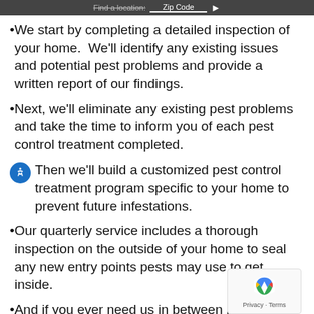Find a location: Zip Code ▶
We start by completing a detailed inspection of your home.  We'll identify any existing issues and potential pest problems and provide a written report of our findings.
Next, we'll eliminate any existing pest problems and take the time to inform you of each pest control treatment completed.
Then we'll build a customized pest control treatment program specific to your home to prevent future infestations.
Our quarterly service includes a thorough inspection on the outside of your home to seal any new entry points pests may use to get inside.
And if you ever need us in between pest control services, we'll be there at no additional cost.